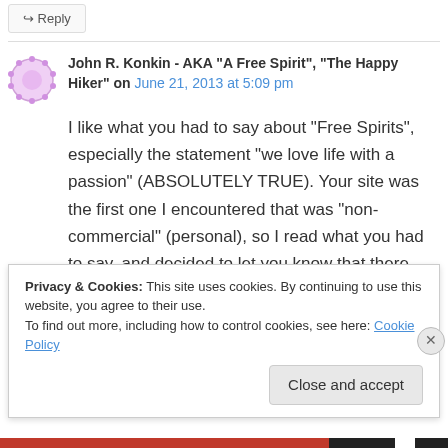↪ Reply
John R. Konkin - AKA "A Free Spirit", "The Happy Hiker" on June 21, 2013 at 5:09 pm
I like what you had to say about “Free Spirits”, especially the statement “we love life with a passion” (ABSOLUTELY TRUE). Your site was the first one I encountered that was “non-commercial” (personal), so I read what you had to say, and decided to let you know that there
Privacy & Cookies: This site uses cookies. By continuing to use this website, you agree to their use.
To find out more, including how to control cookies, see here: Cookie Policy
Close and accept